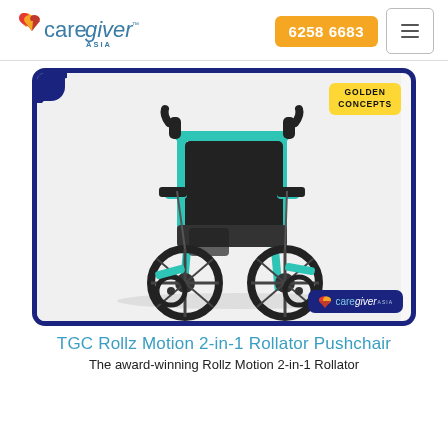[Figure (logo): Caregiver Asia logo with heart icon in orange/red, and teal/blue text reading 'caregiver ASIA']
6258 6683
[Figure (photo): Rollz Motion 2-in-1 Rollator Pushchair in teal/turquoise color with black seat and large rear wheels, shown in wheelchair configuration. Golden Concepts badge in top-right. Caregiver Asia watermark in bottom-right.]
TGC Rollz Motion 2-in-1 Rollator Pushchair
The award-winning Rollz Motion 2-in-1 Rollator